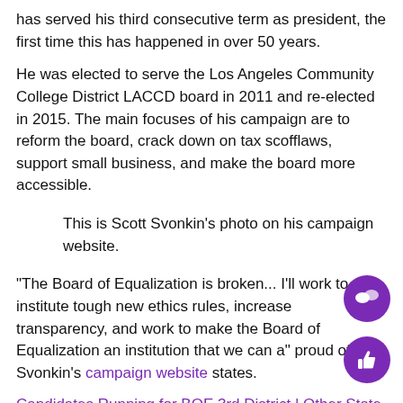has served his third consecutive term as president, the first time this has happened in over 50 years.
He was elected to serve the Los Angeles Community College District LACCD board in 2011 and re-elected in 2015. The main focuses of his campaign are to reform the board, crack down on tax scofflaws, support small business, and make the board more accessible.
This is Scott Svonkin’s photo on his campaign website.
“The Board of Equalization is broken... I’ll work to institute tough new ethics rules, increase transparency, and work to make the Board of Equalization an institution that we can a’ proud of,” Svonkin’s campaign website states.
Candidates Running for BOE 3rd District | Other State Posi
Cheryl C. Turner is a tax attorney and commissioner running...